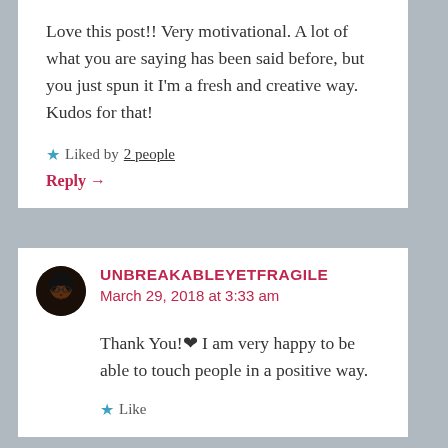Love this post!! Very motivational. A lot of what you are saying has been said before, but you just spun it I'm a fresh and creative way. Kudos for that!
★ Liked by 2 people
Reply →
UNBREAKABLEYETFRAGILE
March 29, 2018 at 3:33 am
Thank You!❤ I am very happy to be able to touch people in a positive way.
★ Like